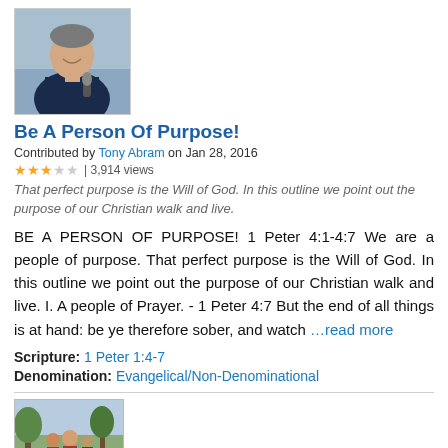[Figure (photo): Photo of a man in a dark suit holding a microphone, smiling]
Be A Person Of Purpose!
Contributed by Tony Abram on Jan 28, 2016
★★★☆☆ | 3,914 views
That perfect purpose is the Will of God. In this outline we point out the purpose of our Christian walk and live.
BE A PERSON OF PURPOSE! 1 Peter 4:1-4:7 We are a people of purpose. That perfect purpose is the Will of God. In this outline we point out the purpose of our Christian walk and live. I. A people of Prayer. - 1 Peter 4:7 But the end of all things is at hand: be ye therefore sober, and watch …read more
Scripture: 1 Peter 1:4-7
Denomination: Evangelical/Non-Denominational
[Figure (photo): Photo of a family group outdoors]